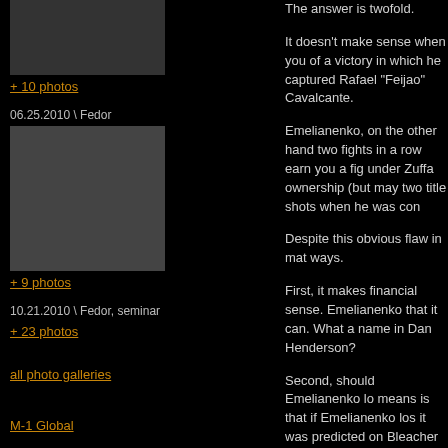[Figure (photo): Small photo thumbnail at top of left column, appears to show people]
+ 10 photos
06.25.2010 \ Fedor
[Figure (photo): Photo thumbnail showing a fighting/MMA scene]
+ 9 photos
10.21.2010 \ Fedor, seminar
+ 23 photos
all photo galleries
M-1 Global
Wrought Iron Fences
The answer is twofold.
It doesn't make sense when you of a victory in which he captured Rafael "Feijao" Cavalcante.
Emelianenko, on the other hand, two fights in a row earn you a fig under Zuffa ownership (but may two title shots when he was con
Despite this obvious flaw in mat ways.
First, it makes financial sense. Emelianenko that it can. What a name in Dan Henderson?
Second, should Emelianenko lo means is that if Emelianenko los it was predicted on Bleacher Re "Bigfoot" Silva), Zuffa and Dana couldn't even beat "UFC reject"
When one examines the fight ve ultimately does make sense. If R may be able to put him in anoth money off of him and can now f history as a false god worshiped
By Matthew Saccaro